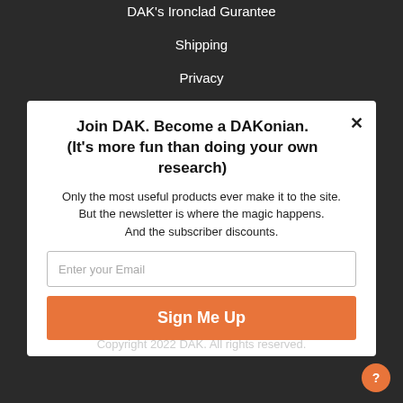DAK's Ironclad Gurantee
Shipping
Privacy
Policy
Join DAK. Become a DAKonian.
(It's more fun than doing your own research)
Only the most useful products ever make it to the site. But the newsletter is where the magic happens. And the subscriber discounts.
Enter your Email
Sign Me Up
Copyright 2022 DAK. All rights reserved.